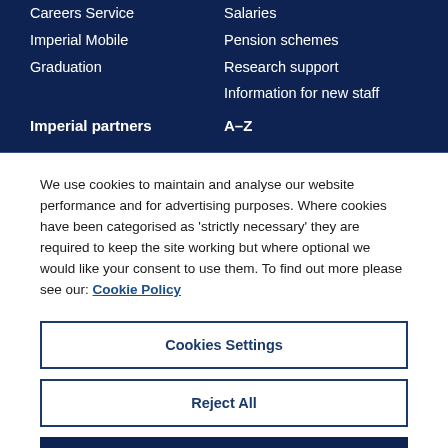Careers Service
Salaries
Imperial Mobile
Pension schemes
Graduation
Research support
Information for new staff
Imperial partners
A–Z
We use cookies to maintain and analyse our website performance and for advertising purposes. Where cookies have been categorised as 'strictly necessary' they are required to keep the site working but where optional we would like your consent to use them. To find out more please see our: Cookie Policy
Cookies Settings
Reject All
Accept All Cookies